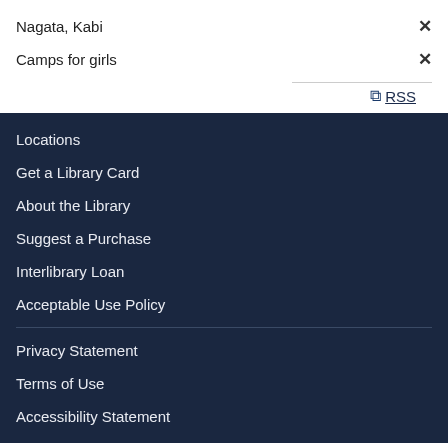Nagata, Kabi ×
Camps for girls ×
RSS
Locations
Get a Library Card
About the Library
Suggest a Purchase
Interlibrary Loan
Acceptable Use Policy
Privacy Statement
Terms of Use
Accessibility Statement
Powered by BiblioCommons.
BiblioCore: app06 Version 9.9.0 Last updated 2022/08/11 13:44